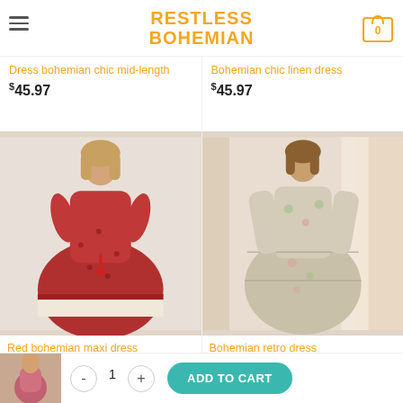RESTLESS BOHEMIAN
Dress bohemian chic mid-length
$45.97
Bohemian chic linen dress
$45.97
[Figure (photo): Woman wearing a red bohemian maxi dress with floral print and tassel detail]
Red bohemian maxi dress
$40.97
[Figure (photo): Woman wearing a bohemian retro floral dress with long sleeves]
Bohemian retro dress
$45.97
- 1 + ADD TO CART